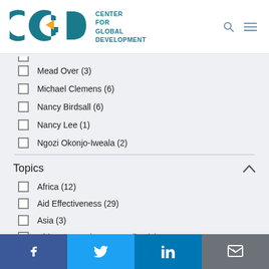[Figure (logo): CGD Center for Global Development logo with teal CGD letters and gold arrow, search and menu icons]
Mead Over (3)
Michael Clemens (6)
Nancy Birdsall (6)
Nancy Lee (1)
Ngozi Okonjo-Iweala (2)
Topics
Africa (12)
Aid Effectiveness (29)
Asia (3)
Chinese Development Policy (1)
Commitment to Development Index (2)
Facebook | Twitter | LinkedIn | Email